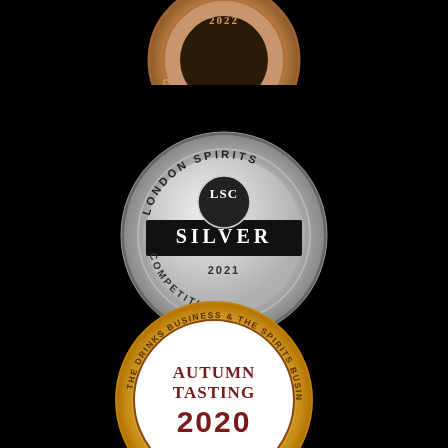[Figure (illustration): Partially visible bronze/copper medal at the top with '2022' and 'COMPETITION' text visible, on black background]
[Figure (illustration): London Spirits Competition LSC Silver 2021 medal - silver circular medal with 'LONDON SPIRITS' curved at top, 'LSC' in center circle, 'SILVER' in black band, '2021' below, 'COMPETITION' curved at bottom]
[Figure (illustration): The Drinks Business & The Spirits Business Autumn Tasting 2020 Gold medal - gold/yellow circular medal with curved text around edge, 'AUTUMN TASTING' in dark red, '2020' large, 'GOLD' in gold text]